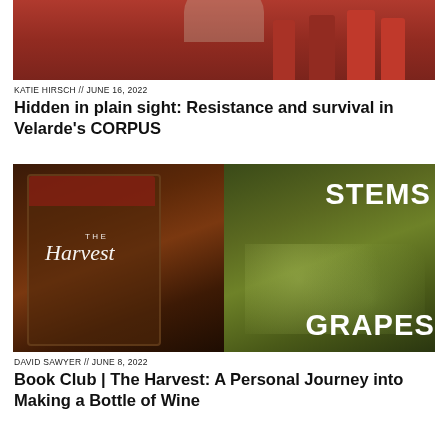[Figure (photo): Bottom portion of a photo showing red bar stools and decorative elements in a restaurant or gallery setting]
KATIE HIRSCH // JUNE 16, 2022
Hidden in plain sight: Resistance and survival in Velarde's CORPUS
[Figure (photo): Composite image: left side shows a book cover 'The Harvest' with dark grape must/fermentation vat background; right side shows 'STEMS' and 'GRAPES' text overlaid on a photo of green grape clusters]
DAVID SAWYER // JUNE 8, 2022
Book Club | The Harvest: A Personal Journey into Making a Bottle of Wine